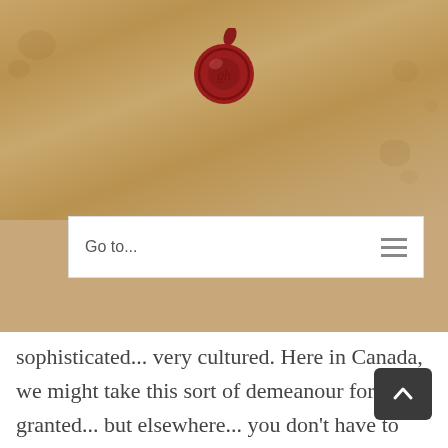[Figure (illustration): Parchment background header with red wax seal in the center]
Go to...
sophisticated... very cultured. Here in Canada, we might take this sort of demeanour for granted... but elsewhere... you don't have to look too far to see the way different cultures approach things.

Yeah, you know, I was going to write about the cultural differences, between here and south of the border, but perhaps that particular topic has already gotten enough attention from me. I get it. You get it...